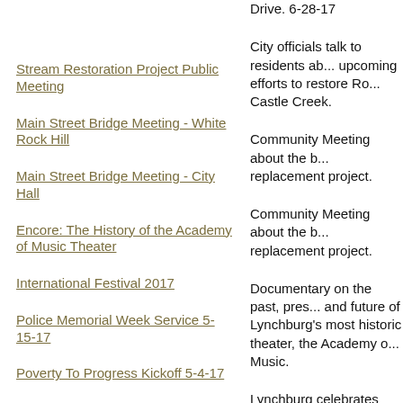Drive.  6-28-17
City officials talk to residents about upcoming efforts to restore Ro... Castle Creek.
Stream Restoration Project Public Meeting
Community Meeting about the b... replacement project.
Main Street Bridge Meeting - White Rock Hill
Community Meeting about the b... replacement project.
Main Street Bridge Meeting - City Hall
Documentary on the past, pres... and future of Lynchburg's most historic theater, the Academy o... Music.
Encore: The History of the Academy of Music Theater
Lynchburg celebrates diversity... Riverfront Park.
International Festival 2017
Annual service honoring fallen officers from around the state w... died in the line of duty.
Police Memorial Week Service  5-15-17
City leaders and volunteers be... work on Lynchburg's Poverty t... Progress initiative.
Poverty To Progress Kickoff  5-4-17